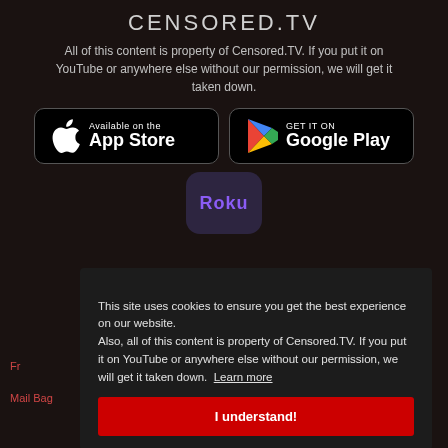CENSORED.TV
All of this content is property of Censored.TV. If you put it on YouTube or anywhere else without our permission, we will get it taken down.
[Figure (logo): App Store download badge - black button with Apple logo, 'Available on the App Store']
[Figure (logo): Google Play download badge - black button with Google Play triangle logo, 'GET IT ON Google Play']
[Figure (logo): Roku app icon - dark purple rounded square with 'Roku' text in purple]
This site uses cookies to ensure you get the best experience on our website. Also, all of this content is property of Censored.TV. If you put it on YouTube or anywhere else without our permission, we will get it taken down. Learn more
I understand!